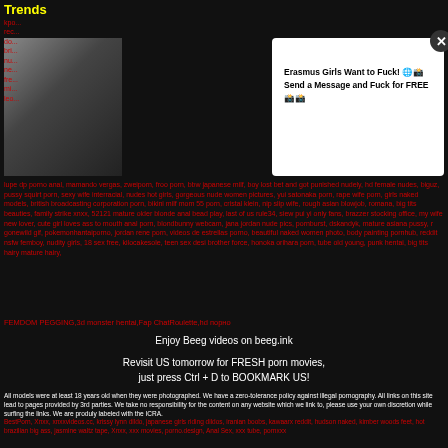Trends
[Figure (photo): Thumbnail of a woman]
[Figure (infographic): Popup ad: Erasmus Girls Want to Fuck! Send a Message and Fuck for FREE]
lupe dp porno anal, mamando vergas, zweiporn, froo porn, bbw japanese milf, boy lost bet and got punished nudely, hd female nudes, biguz, pussy squirt porn, sexy wife interracial, nudes hot girls, gorgeous nude women pictures, yui satonaka porn, rape wife porn, girls naked models, british broadcasting corporation porn, bikini milf mom 55 porn, cristal klein, nip slip wife, rough asian blowjob, romana, big tits beauties, family strike xnxx, 52121 mature older blonde anal bead play, last of us rule34, siew pui yi only fans, brazzer stocking office, my wife new lover, cute girl loves ass to mouth anal porn, blondbunny webcam, jana jordan nude pics, pornburst, dskandyk, mature asiana pussy, r gonewild gif, pokemonhantaiporno, jordan rene porn, videos de estrellas porno, beautiful naked women photo, body painting pornhub, reddit nsfw femboy, nudity girls, 18 sex free, kilocakesole, teen sex desi brother force, honoka orihara porn, tube old young, punk hentai, big tits hairy mature hairy,
FEMDOM PEGGING,3d monster hentai,Fap ChatRoulette,hd порно
Enjoy Beeg videos on beeg.ink
Revisit US tomorrow for FRESH porn movies, just press Ctrl + D to BOOKMARK US!
All models were at least 18 years old when they were photographed. We have a zero-tolerance policy against illegal pornography. All links on this site lead to pages provided by 3rd parties. We take no responsibility for the content on any website which we link to, please use your own discretion while surfing the links. We are produly labeled with the ICRA.
BestPorn, Xnxx, xnxxvideos.cc, krissy lynn dildo, japanese girls riding dildos, iranian boobs, kawaarx reddit, hudson naked, kimber woods feet, hot brazilian big ass, jasmine waltz tape, Xnxx, xxx movies, porno.design, Anal Sex, xxx tube, pornxxx